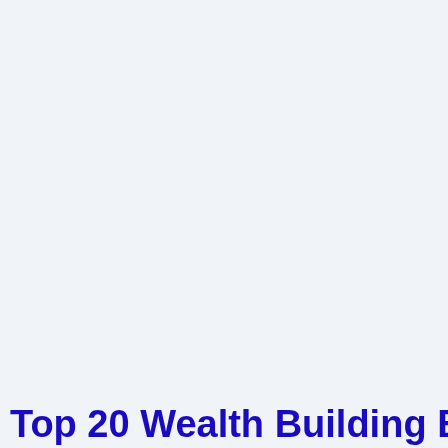Top 20 Wealth Building Books (Real